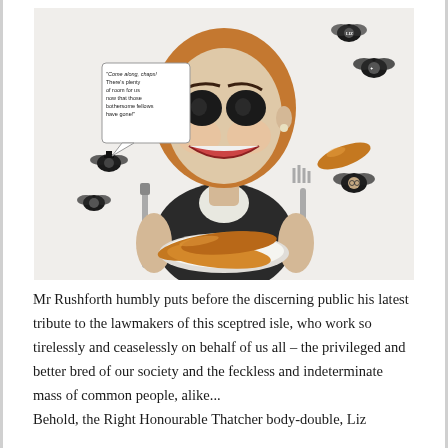[Figure (illustration): A satirical caricature illustration of a woman (Liz Truss depicted as a Thatcher body-double) with an exaggerated grinning face, holding a knife and fork with a plate of sausages. Flies with tiny faces of politicians surround the figure. A speech bubble reads: 'Come along, chaps! There's plenty of room for us now that those bothersome fellows have gone!']
Mr Rushforth humbly puts before the discerning public his latest tribute to the lawmakers of this sceptred isle, who work so tirelessly and ceaselessly on behalf of us all – the privileged and better bred of our society and the feckless and indeterminate mass of common people, alike... Behold, the Right Honourable Thatcher body-double, Liz